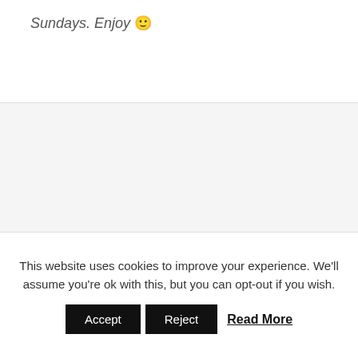Sundays. Enjoy 🙂
This website uses cookies to improve your experience. We'll assume you're ok with this, but you can opt-out if you wish.
Accept  Reject  Read More